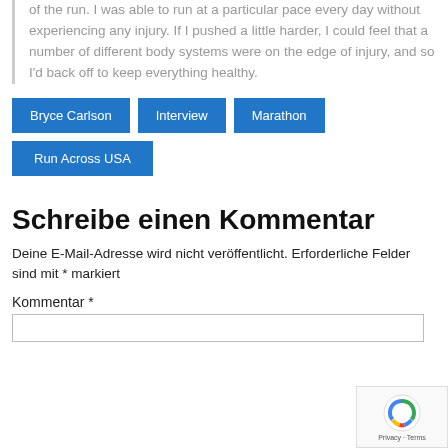of the run. I was able to run at a particular pace every day without experiencing any injury. If I pushed a little harder, I could feel that a number of different body systems were on the edge of injury, and so I'd back off to keep everything healthy.
Bryce Carlson
Interview
Marathon
Run Across USA
Schreibe einen Kommentar
Deine E-Mail-Adresse wird nicht veröffentlicht. Erforderliche Felder sind mit * markiert
Kommentar *